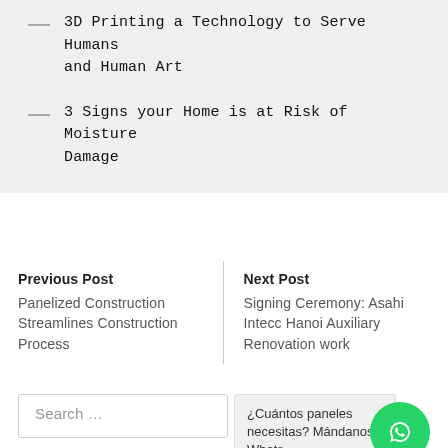3D Printing a Technology to Serve Humans and Human Art
3 Signs your Home is at Risk of Moisture Damage
Previous Post
Panelized Construction Streamlines Construction Process
Next Post
Signing Ceremony: Asahi Intecc Hanoi Auxiliary Renovation work
Search …
¿Cuántos paneles necesitas? Mándanos Whats